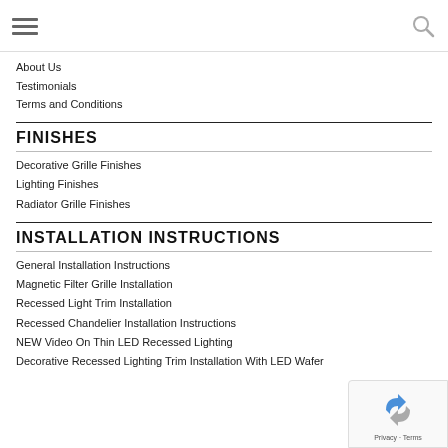Navigation menu with hamburger icon and search icon
About Us
Testimonials
Terms and Conditions
FINISHES
Decorative Grille Finishes
Lighting Finishes
Radiator Grille Finishes
INSTALLATION INSTRUCTIONS
General Installation Instructions
Magnetic Filter Grille Installation
Recessed Light Trim Installation
Recessed Chandelier Installation Instructions
NEW Video On Thin LED Recessed Lighting
Decorative Recessed Lighting Trim Installation With LED Wafer